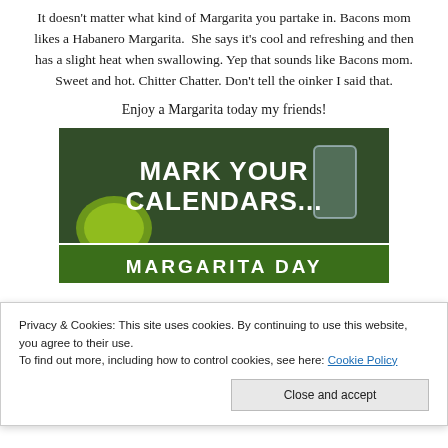It doesn't matter what kind of Margarita you partake in. Bacons mom likes a Habanero Margarita.  She says it's cool and refreshing and then has a slight heat when swallowing. Yep that sounds like Bacons mom. Sweet and hot. Chitter Chatter. Don't tell the oinker I said that.
Enjoy a Margarita today my friends!
[Figure (photo): Dark green background image with bold white text reading 'MARK YOUR CALENDARS...' and what appears to be a margarita glass and lime wedge.]
Privacy & Cookies: This site uses cookies. By continuing to use this website, you agree to their use.
To find out more, including how to control cookies, see here: Cookie Policy
[Figure (photo): Green image with white bold text reading 'MARGARITA DAY' partially visible at bottom.]